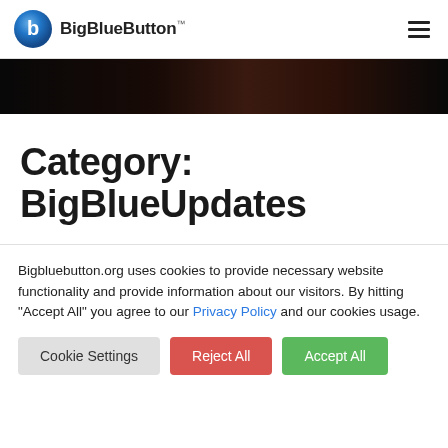BigBlueButton™
[Figure (photo): Dark hero image with dim reddish lighting]
Category: BigBlueUpdates
Bigbluebutton.org uses cookies to provide necessary website functionality and provide information about our visitors. By hitting "Accept All" you agree to our Privacy Policy and our cookies usage.
Cookie Settings
Reject All
Accept All